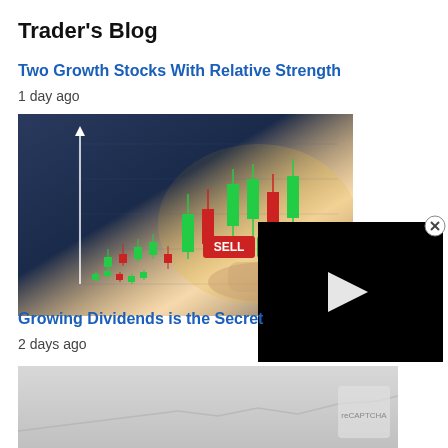Trader's Blog
Two Growth Stocks With Relative Strength
1 day ago
[Figure (photo): Candlestick chart with green and red candles, hand touching screen with SELL and BUY buttons]
[Figure (screenshot): Black video player overlay with white play button triangle]
Growing Dividends is the Secret
2 days ago
[Figure (photo): Faded gray stock chart image at bottom]